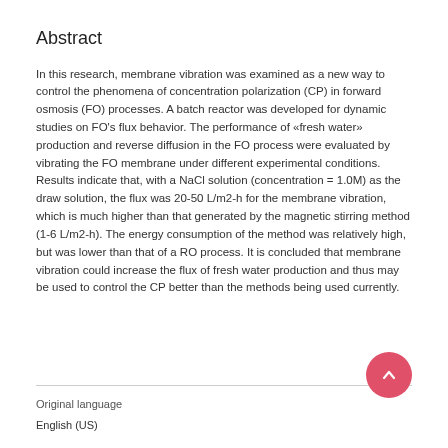Abstract
In this research, membrane vibration was examined as a new way to control the phenomena of concentration polarization (CP) in forward osmosis (FO) processes. A batch reactor was developed for dynamic studies on FO's flux behavior. The performance of «fresh water» production and reverse diffusion in the FO process were evaluated by vibrating the FO membrane under different experimental conditions. Results indicate that, with a NaCl solution (concentration = 1.0M) as the draw solution, the flux was 20-50 L/m2-h for the membrane vibration, which is much higher than that generated by the magnetic stirring method (1-6 L/m2-h). The energy consumption of the method was relatively high, but was lower than that of a RO process. It is concluded that membrane vibration could increase the flux of fresh water production and thus may be used to control the CP better than the methods being used currently.
Original language
English (US)